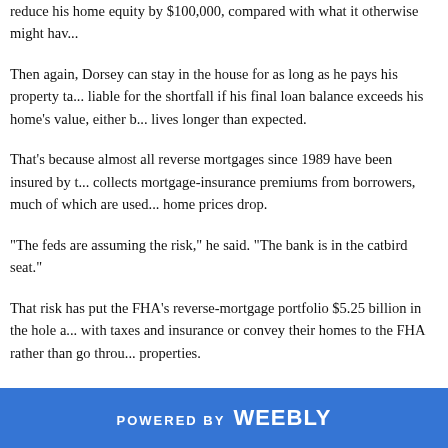reduce his home equity by $100,000, compared with what it otherwise might have.
Then again, Dorsey can stay in the house for as long as he pays his property taxes and homeowner's insurance. And he's not liable for the shortfall if his final loan balance exceeds his home's value, either because interest has accrued or because he lives longer than expected.
That's because almost all reverse mortgages since 1989 have been insured by the FHA. The government agency collects mortgage-insurance premiums from borrowers, much of which are used to pay lenders and investors when home prices drop.
“The feds are assuming the risk,” he said. “The bank is in the catbird seat.”
That risk has put the FHA’s reverse-mortgage portfolio $5.25 billion in the hole as some borrowers failed to keep up with taxes and insurance or convey their homes to the FHA rather than go through foreclosure on underwater properties.
In response, Congress recently passed legislation sponsored by U.S. Rep. Denny Heck that authorized changes to stem the deficit. President Obama signed the bill. The agency plans to implement new rules that could reduce loan amounts or even disqualify some borrowers.
Among the proposed changes are requiring a review of applicants' finances before approval and requiring an escrow account to set aside money for taxes and insurance.
POWERED BY weebly